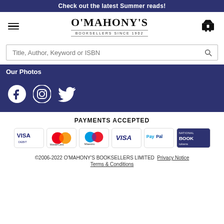Check out the latest Summer reads!
[Figure (logo): O'Mahony's Booksellers Since 1902 logo with hamburger menu and basket icon]
Title, Author, Keyword or ISBN
Our Photos
[Figure (logo): Social media icons: Facebook, Instagram, Twitter]
PAYMENTS ACCEPTED
[Figure (other): Payment method logos: Visa Debit, MasterCard, Maestro, Visa, PayPal, National Book Tokens]
©2006-2022 O'MAHONY'S BOOKSELLERS LIMITED  Privacy Notice  Terms & Conditions